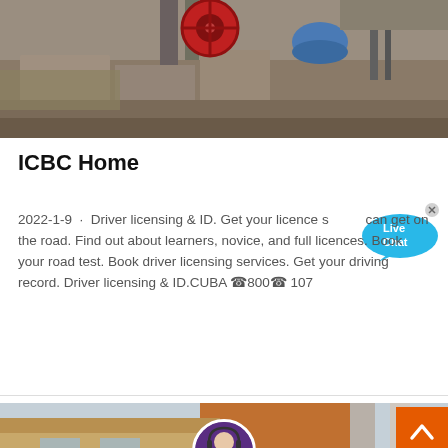[Figure (photo): Construction site with heavy machinery, a red wheel/pulley, blue barrel, concrete walls and rubble]
ICBC Home
2022-1-9 · Driver licensing & ID. Get your licence so you can get on the road. Find out about learners, novice, and full licences. Book your road test. Book driver licensing services. Get your driving record. Driver licensing & ID.CUBA ☎️800☎ 107
[Figure (photo): Building exterior with orange/brown facade and blue sky, with customer service agent overlay and live chat UI elements]
Nachricht hinterlassen
Online chatten